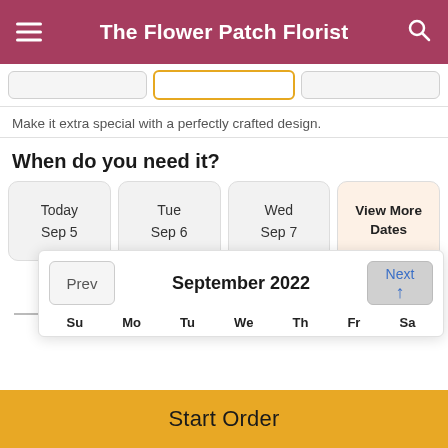The Flower Patch Florist
Make it extra special with a perfectly crafted design.
When do you need it?
Today Sep 5
Tue Sep 6
Wed Sep 7
View More Dates
September 2022
Prev
Next
Su  Mo  Tu  We  Th  Fr  Sa
Start Order